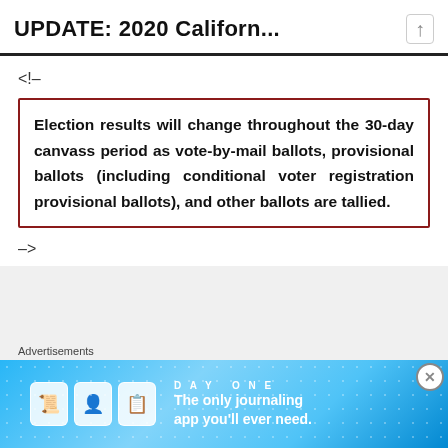UPDATE: 2020 Californ...
<!–
Election results will change throughout the 30-day canvass period as vote-by-mail ballots, provisional ballots (including conditional voter registration provisional ballots), and other ballots are tallied.
–>
Advertisements
[Figure (illustration): DayOne journaling app advertisement banner with blue background, app icons, and text: 'The only journaling app you'll ever need.']